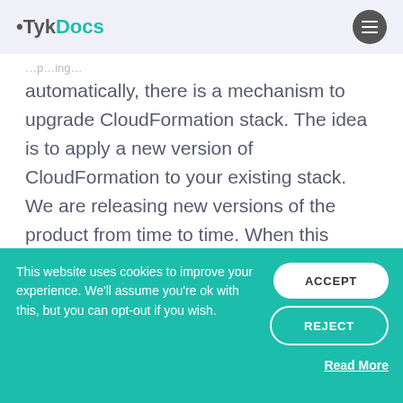TykDocs
automatically, there is a mechanism to upgrade CloudFormation stack. The idea is to apply a new version of CloudFormation to your existing stack. We are releasing new versions of the product from time to time. When this happens, you will get a notification from AWS.
This website uses cookies to improve your experience. We'll assume you're ok with this, but you can opt-out if you wish.
ACCEPT
REJECT
Read More